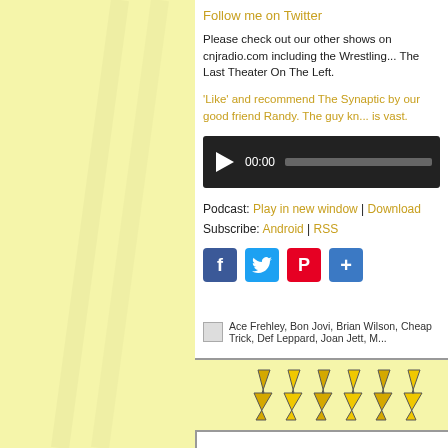Follow me on Twitter
Please check out our other shows on cnjradio.com including the Wrestling... The Last Theater On The Left.
'Like' and recommend The Synaptic by our good friend Randy. The guy kn... is vast.
[Figure (other): Audio player widget with play button, 00:00 timestamp, and progress bar on dark background]
Podcast: Play in new window | Download
Subscribe: Android | RSS
[Figure (other): Social sharing buttons: Facebook, Twitter, Pinterest, and more]
Ace Frehley, Bon Jovi, Brian Wilson, Cheap Trick, Def Leppard, Joan Jett, M...
[Figure (illustration): Lightning bolt decoration graphic in yellow/gold on yellow background]
Episode 333: BDay Shakedown – T... Part IV